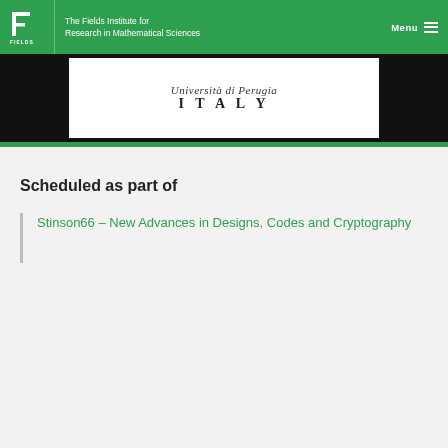The Fields Institute for Research in Mathematical Sciences | Menu
[Figure (photo): Handwritten text on white background showing 'Università di Perugia' and 'ITALY' on dark strip]
Scheduled as part of
Stinson66 – New Advances in Designs, Codes and Cryptography